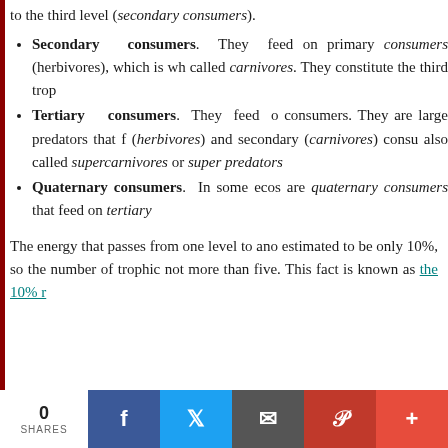to the third level (secondary consumers).
Secondary consumers. They feed on primary consumers (herbivores), which is why they are also called carnivores. They constitute the third trophic level.
Tertiary consumers. They feed on secondary consumers. They are large predators that feed on primary (herbivores) and secondary (carnivores) consumers. They are also called supercarnivores or super predators.
Quaternary consumers. In some ecosystems, there are quaternary consumers that feed on tertiary consumers.
The energy that passes from one level to another is estimated to be only 10%, so the number of trophic levels is not more than five. This fact is known as the 10% rule.
0 SHARES | Share on Facebook | Share on Twitter | Email | Share on Pinterest | +